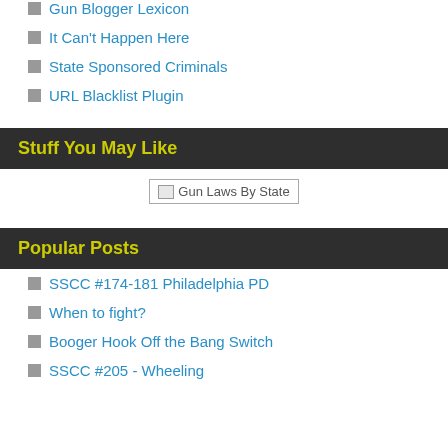Gun Blogger Lexicon
It Can't Happen Here
State Sponsored Criminals
URL Blacklist Plugin
Stuff You May Like
[Figure (illustration): Image placeholder for Gun Laws By State]
Popular Posts
SSCC #174-181 Philadelphia PD
When to fight?
Booger Hook Off the Bang Switch
SSCC #205 - Wheeling